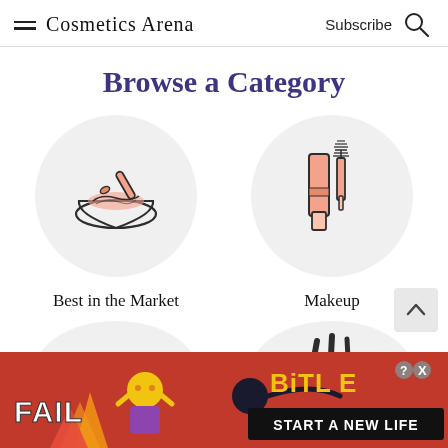Cosmetics Arena  Subscribe
Browse a Category
[Figure (illustration): Circular category icon with mortar and pestle / mixing bowl with pink cream, on light gray circle background. Label: Best in the Market]
[Figure (illustration): Circular category icon with mascara wand and tube/lipstick in salmon/pink color, on light gray circle background. Label: Makeup]
Best in the Market
Makeup
[Figure (illustration): Partial circular icon showing steam/heat lines with pink circular element, partially visible at bottom left]
[Figure (illustration): Partial circular icon showing nail polish brush with drop, partially visible at bottom right]
[Figure (illustration): Advertisement banner: BitLife game ad with 'FAIL' text, cartoon character, flames, and 'START A NEW LIFE' text]